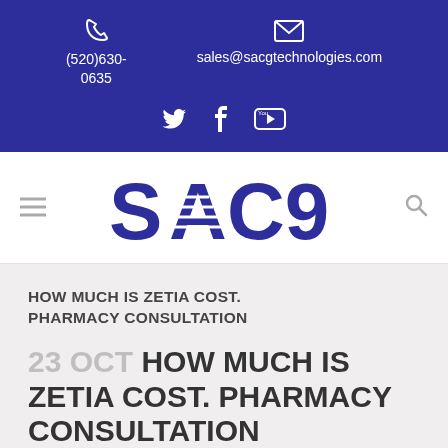(520)630-0635  sales@sacgtechnologies.com
[Figure (logo): SAC9 company logo in dark blue with striped letter A]
HOW MUCH IS ZETIA COST. PHARMACY CONSULTATION
23 OCT HOW MUCH IS ZETIA COST. PHARMACY CONSULTATION